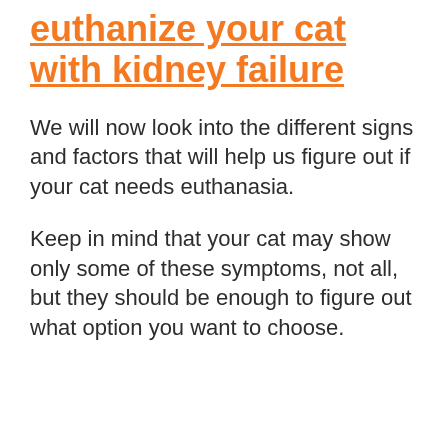euthanize your cat with kidney failure
We will now look into the different signs and factors that will help us figure out if your cat needs euthanasia.
Keep in mind that your cat may show only some of these symptoms, not all, but they should be enough to figure out what option you want to choose.